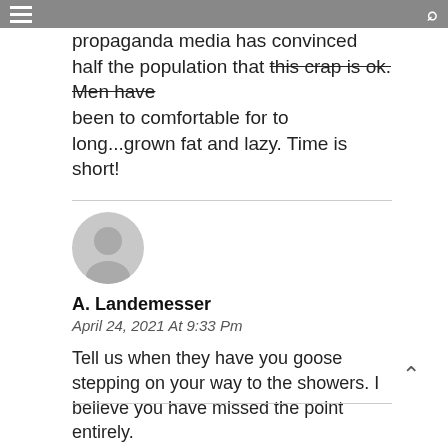[hamburger menu] [search icon]
estroyed from the inside. The propaganda media has convinced half the population that this crap is ok. Men have been to comfortable for to long...grown fat and lazy. Time is short!
A. Landemesser
April 24, 2021 At 9:33 Pm

Tell us when they have you goose stepping on your way to the showers. I believe you have missed the point entirely.